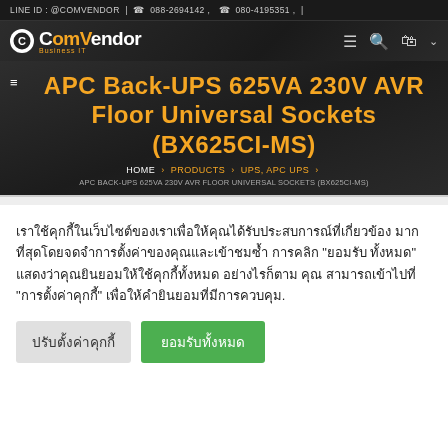LINE ID : @COMVENDOR | 088-2694142 , 080-4195351 ,
[Figure (logo): ComVendor Business IT logo with circular icon]
APC Back-UPS 625VA 230V AVR Floor Universal Sockets (BX625CI-MS)
HOME > PRODUCTS > UPS, APC UPS > APC BACK-UPS 625VA 230V AVR FLOOR UNIVERSAL SOCKETS (BX625CI-MS)
เราใช้คุกกี้ในเว็บไซต์ของเราเพื่อให้คุณได้รับประสบการณ์ที่เกี่ยวข้องมากที่สุดโดยจดจำการตั้งค่าของคุณและเข้าชมซ้ำ การคลิก "ยอมรับทั้งหมด" แสดงว่าคุณยินยอมให้ใช้คุกกี้ทั้งหมด อย่างไรก็ตาม คุณสามารถเข้าไปที่ "การตั้งค่าคุกกี้" เพื่อให้คำยินยอมที่มีการควบคุม.
ปรับตั้งค่าคุกกี้
ยอมรับทั้งหมด